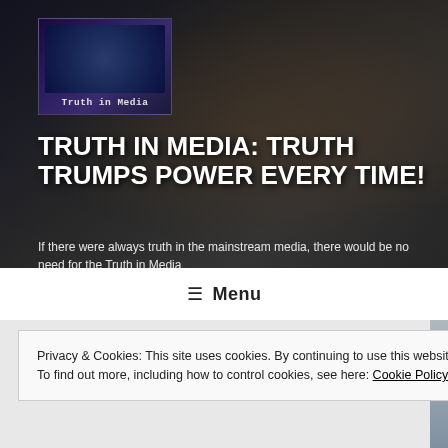[Figure (photo): Hero banner with typewriter/keyboard background image, dark tones with browns and grays. Contains Truth in Media logo in upper left corner.]
TRUTH IN MEDIA: TRUTH TRUMPS POWER EVERY TIME!
If there were always truth in the mainstream media, there would be no need for the Truth in Media
≡ Menu
Privacy & Cookies: This site uses cookies. By continuing to use this website, you agree to their use.
To find out more, including how to control cookies, see here: Cookie Policy
Close and accept